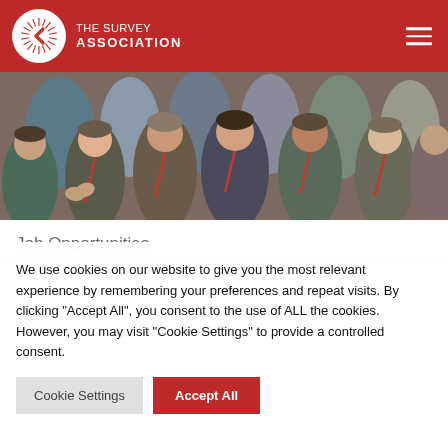THE SURVEY ASSOCIATION
[Figure (photo): Group of people in formal attire applauding at an event, many wearing red lanyards]
Job Opportunities
We use cookies on our website to give you the most relevant experience by remembering your preferences and repeat visits. By clicking “Accept All”, you consent to the use of ALL the cookies. However, you may visit "Cookie Settings" to provide a controlled consent.
Cookie Settings | Accept All